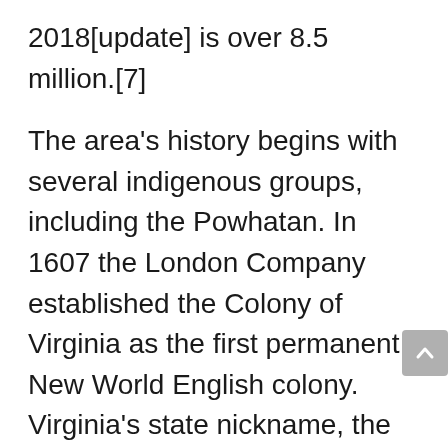2018[update] is over 8.5 million.[7]
The area's history begins with several indigenous groups, including the Powhatan. In 1607 the London Company established the Colony of Virginia as the first permanent New World English colony. Virginia's state nickname, the Old Dominion, is a reference to this status. Slave labor and the land acquired from displaced Native American tribes each played a significant role in the colony's early politics and plantation economy. Virginia was one of the 13 Colonies in the American Revolution. In the American Civil War, Virginia...